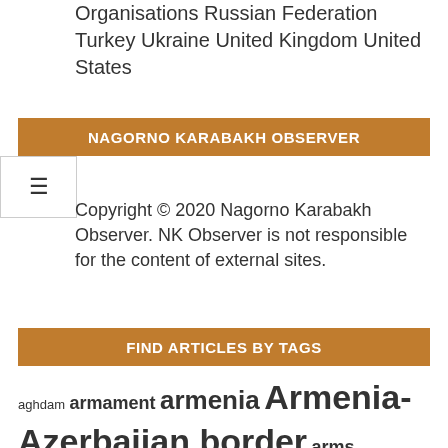Security and Cooperation in Europe Non-Government Organisations Russian Federation Turkey Ukraine United Kingdom United States
NAGORNO KARABAKH OBSERVER
≡
Copyright © 2020 Nagorno Karabakh Observer. NK Observer is not responsible for the content of external sites.
FIND ARTICLES BY TAGS
aghdam armament armenia Armenia-Azerbaijan border arms trade artak davtyan azerbaijan bako sahakyan border guards ceasefire violation czech republic david gareja davit tonoyan fizuli foreign ministry Gazakh georgia hadrut ilham aliyev iran israel